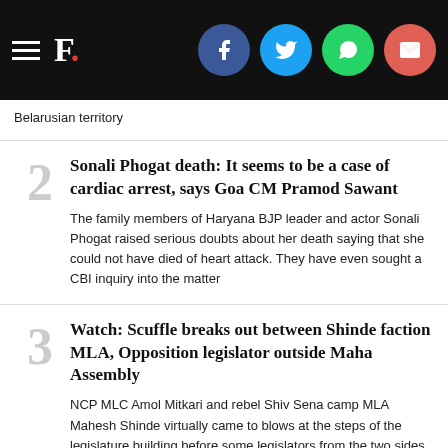F. [social share icons: Facebook, Twitter, WhatsApp, Email]
Belarusian territory
2 Sonali Phogat death: It seems to be a case of cardiac arrest, says Goa CM Pramod Sawant — The family members of Haryana BJP leader and actor Sonali Phogat raised serious doubts about her death saying that she could not have died of heart attack. They have even sought a CBI inquiry into the matter
3 Watch: Scuffle breaks out between Shinde faction MLA, Opposition legislator outside Maha Assembly — NCP MLC Amol Mitkari and rebel Shiv Sena camp MLA Mahesh Shinde virtually came to blows at the steps of the legislature building before some legislators from the two sides intervened and diffused the tension.
4 BJP offered Rs 20 crore each to four MLAs to switch sides, claims AAP MP Sanjay Singh